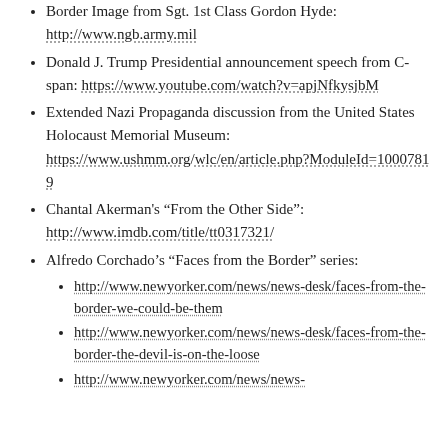Border Image from Sgt. 1st Class Gordon Hyde: http://www.ngb.army.mil
Donald J. Trump Presidential announcement speech from C-span: https://www.youtube.com/watch?v=apjNfkysjbM
Extended Nazi Propaganda discussion from the United States Holocaust Memorial Museum: https://www.ushmm.org/wlc/en/article.php?ModuleId=10007819
Chantal Akerman's “From the Other Side”: http://www.imdb.com/title/tt0317321/
Alfredo Corchado’s “Faces from the Border” series:
http://www.newyorker.com/news/news-desk/faces-from-the-border-we-could-be-them
http://www.newyorker.com/news/news-desk/faces-from-the-border-the-devil-is-on-the-loose
http://www.newyorker.com/news/news-